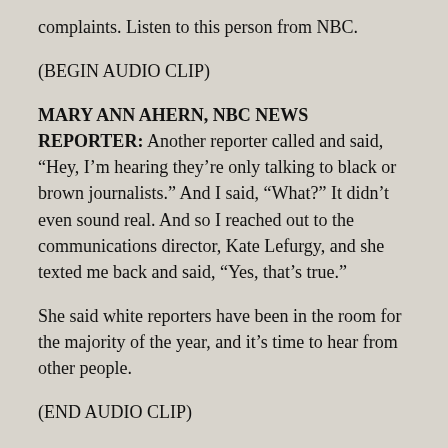complaints. Listen to this person from NBC.
(BEGIN AUDIO CLIP)
MARY ANN AHERN, NBC NEWS REPORTER: Another reporter called and said, “Hey, I’m hearing they’re only talking to black or brown journalists.” And I said, “What?” It didn’t even sound real. And so I reached out to the communications director, Kate Lefurgy, and she texted me back and said, “Yes, that’s true.”
She said white reporters have been in the room for the majority of the year, and it’s time to hear from other people.
(END AUDIO CLIP)
CARLSON: What — and indeed? Wh...